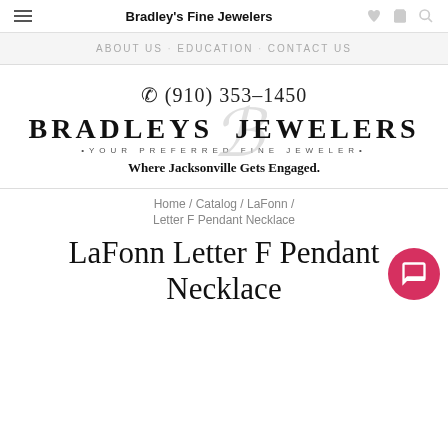Bradley's Fine Jewelers
ABOUT US · EDUCATION · CONTACT US
✆ (910) 353–1450
[Figure (logo): Bradley's Jewelers logo with large script B watermark, text BRADLEYS JEWELERS in bold serif capitals, tagline •YOUR PREFERRED FINE JEWELER•, and slogan Where Jacksonville Gets Engaged.]
Home / Catalog / LaFonn /
Letter F Pendant Necklace
LaFonn Letter F Pendant Necklace